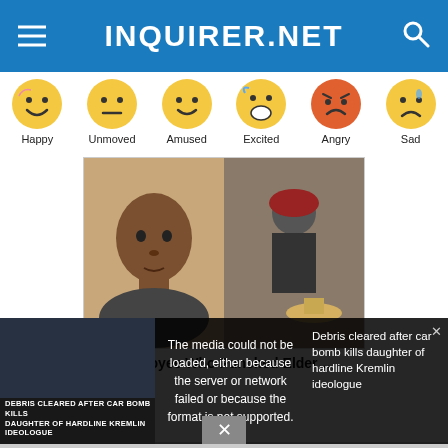INQUIRER.NET
[Figure (illustration): Row of emoji reaction icons labeled Happy, Unmoved, Amused, Excited, Angry, Sad]
[Figure (photo): Two-panel image: left shows a mugshot of a Black man, right shows a surveillance camera image of a person in a red cap]
Wendys Employee Who Punched Elder…
[Figure (screenshot): Video player overlay showing error message: The media could not be loaded, either because the server or network failed or because the format is not supported. Background shows news footage about debris cleared after car bomb kills daughter of hardline Kremlin ideologue.]
Debris cleared after car bomb kills daughter of hardline Kremlin ideologue